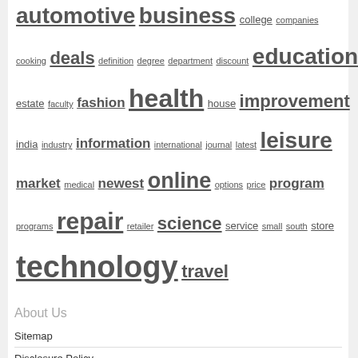automotive business college companies cooking deals definition degree department discount education estate faculty fashion health house improvement india industry information international journal latest leisure market medical newest online options price program programs repair retailer science service small south store technology travel
About Us
Sitemap
Disclosure Policy
Advertise Here